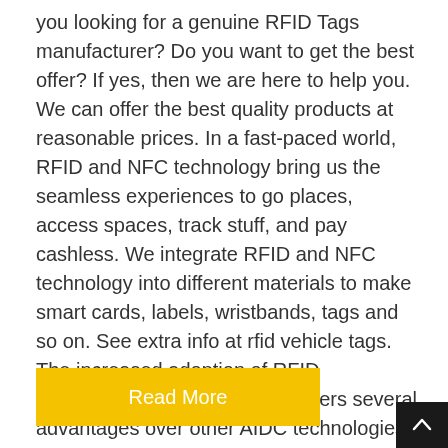you looking for a genuine RFID Tags manufacturer? Do you want to get the best offer? If yes, then we are here to help you. We can offer the best quality products at reasonable prices. In a fast-paced world, RFID and NFC technology bring us the seamless experiences to go places, access spaces, track stuff, and pay cashless. We integrate RFID and NFC technology into different materials to make smart cards, labels, wristbands, tags and so on. See extra info at rfid vehicle tags. The increased adoption of RFID technology is also because it offers several advantages over other AIDC technologies, such as barcodes. For example, RFID tags can be read without having to be in the line of sight of the…
Read More